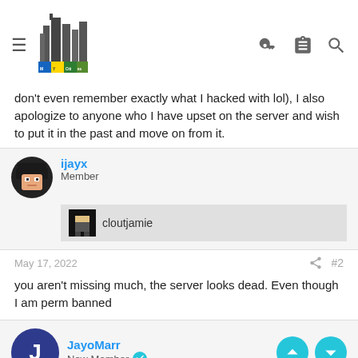MyCities forum header with logo, hamburger menu, key icon, list icon, search icon
don't even remember exactly what I hacked with lol), I also apologize to anyone who I have upset on the server and wish to put it in the past and move on from it.
ijayx
Member
cloutjamie
May 17, 2022  #2
you aren't missing much, the server looks dead. Even though I am perm banned
JayoMarr
New Member